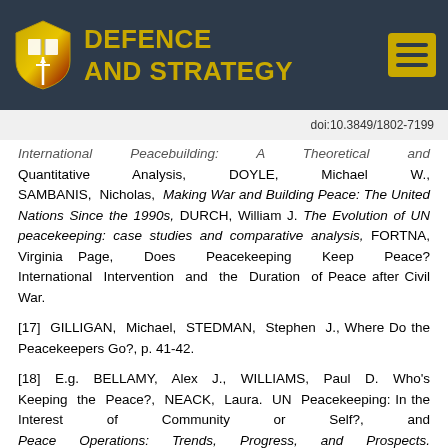DEFENCE AND STRATEGY
doi:10.3849/1802-7199
International Peacebuilding: A Theoretical and Quantitative Analysis, DOYLE, Michael W., SAMBANIS, Nicholas, Making War and Building Peace: The United Nations Since the 1990s, DURCH, William J. The Evolution of UN peacekeeping: case studies and comparative analysis, FORTNA, Virginia Page, Does Peacekeeping Keep Peace? International Intervention and the Duration of Peace after Civil War.
[17] GILLIGAN, Michael, STEDMAN, Stephen J., Where Do the Peacekeepers Go?, p. 41-42.
[18] E.g. BELLAMY, Alex J., WILLIAMS, Paul D. Who's Keeping the Peace?, NEACK, Laura. UN Peacekeeping: In the Interest of Community or Self?, and Peace Operations: Trends, Progress, and Prospects. Editors DANIEL, Donald C. F., TAFT, Patricia,